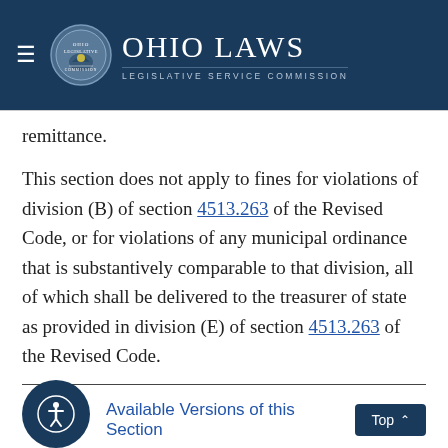Ohio Laws — Legislative Service Commission
remittance.
This section does not apply to fines for violations of division (B) of section 4513.263 of the Revised Code, or for violations of any municipal ordinance that is substantively comparable to that division, all of which shall be delivered to the treasurer of state as provided in division (E) of section 4513.263 of the Revised Code.
Available Versions of this Section